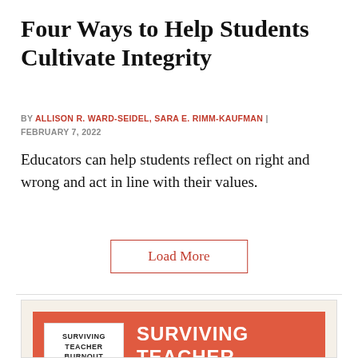Four Ways to Help Students Cultivate Integrity
BY ALLISON R. WARD-SEIDEL, SARA E. RIMM-KAUFMAN | FEBRUARY 7, 2022
Educators can help students reflect on right and wrong and act in line with their values.
Load More
[Figure (illustration): Book promotion image showing a book cover for 'Surviving Teacher Burnout' on an orange/red background, with the book title displayed in large white bold text beside it.]